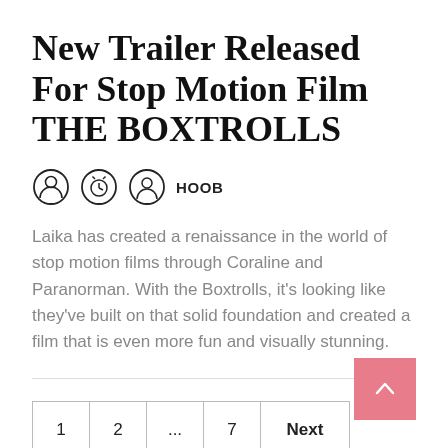New Trailer Released For Stop Motion Film THE BOXTROLLS
HOOB
Laika has created a renaissance in the world of stop motion films through Coraline and Paranorman. With the Boxtrolls, it's looking like they've built on that solid foundation and created a film that is even more fun and visually stunning.
1  2  ...  7  Next